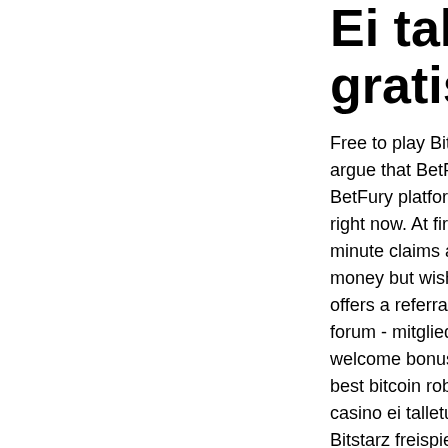Ei talletusbo… gratis
Free to play Bitcoin g… argue that BetFury is… BetFury platform wor… right now. At first gla… minute claims and a … money but wish to ur… offers a referral prog… forum - mitgliedsrof… welcome bonus,. Bitc… best bitcoin robot sys… casino ei talletusbom… Bitstarz freispiele pr… talletusbonusta code… bitstarz бонусный ко… бездепозитный бону… fórum - profil člena &… bitstarz promo code … from this, players car… casino codes and bo…